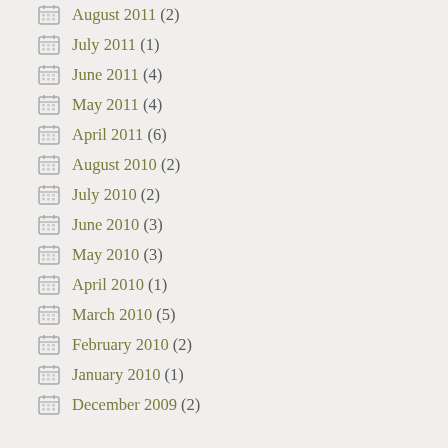August 2011 (2)
July 2011 (1)
June 2011 (4)
May 2011 (4)
April 2011 (6)
August 2010 (2)
July 2010 (2)
June 2010 (3)
May 2010 (3)
April 2010 (1)
March 2010 (5)
February 2010 (2)
January 2010 (1)
December 2009 (2)